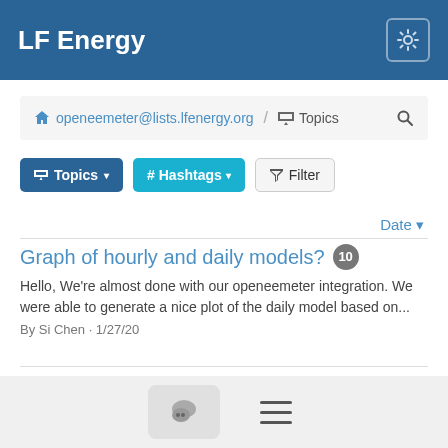LF Energy
openeemeter@lists.lfenergy.org / Topics
Topics  # Hashtags  Filter
Date
Graph of hourly and daily models? 10
Hello, We're almost done with our openeemeter integration. We were able to generate a nice plot of the daily model based on...
By Si Chen · 1/27/20
What are blackout start and end dates in tutorial for? 3
Hello, I'm looking at the tutorial http://eemeter.openee.io/tutorial.html and would like to know